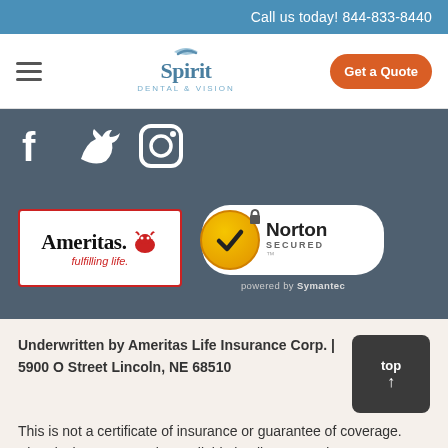Call us today! 844-833-8440
[Figure (logo): Spirit Dental & Vision logo with navigation bar, hamburger menu, and Get a Quote button]
[Figure (logo): Social media icons: Facebook, Twitter, Instagram on dark blue-grey background]
[Figure (logo): Ameritas fulfilling life. logo badge]
[Figure (logo): Norton Secured powered by Symantec badge]
Underwritten by Ameritas Life Insurance Corp. | 5900 O Street Lincoln, NE 68510
This is not a certificate of insurance or guarantee of coverage. Plan designs may not be available in all areas and